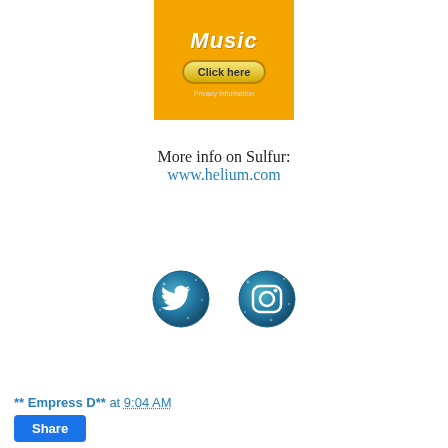[Figure (screenshot): Amazon Music advertisement banner with orange background, 'Music' title text in white italic, a 'Click here' button with gold/yellow pill shape, and 'Privacy Information' text below]
More info on Sulfur:
www.helium.com
[Figure (illustration): Two circular social media icons with blue glitter/sparkle texture: Twitter bird icon on the left and Instagram camera icon on the right]
** Empress D** at 9:04 AM
Share